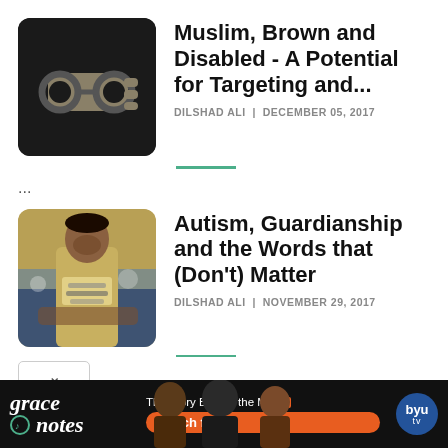[Figure (photo): Dark background image showing a hand with handcuffs on the wrist]
Muslim, Brown and Disabled - A Potential for Targeting and...
DILSHAD ALI | DECEMBER 05, 2017
...
[Figure (photo): Photo of a young man sitting and looking down at a table, wearing a white shirt with text]
Autism, Guardianship and the Words that (Don't) Matter
DILSHAD ALI | NOVEMBER 29, 2017
[Figure (infographic): Grace Notes advertisement banner - The Story Behind the Music, watch free on BYU TV]